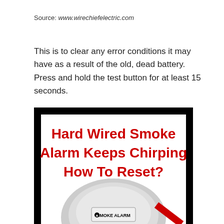Source: www.wirechiefelectric.com
This is to clear any error conditions it may have as a result of the old, dead battery. Press and hold the test button for at least 15 seconds.
[Figure (infographic): Infographic with red bold text on white background reading 'Hard Wired Smoke Alarm Keeps Chirping How To Reset?' with a smoke alarm device shown below, inside a black border frame.]